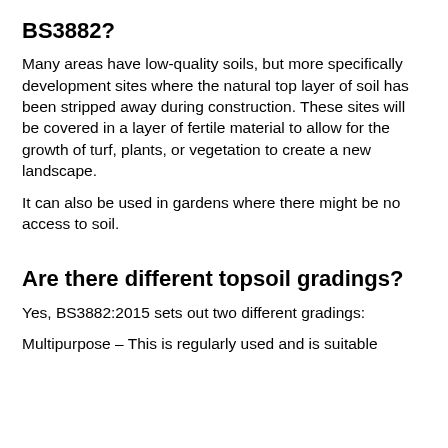BS3882?
Many areas have low-quality soils, but more specifically development sites where the natural top layer of soil has been stripped away during construction. These sites will be covered in a layer of fertile material to allow for the growth of turf, plants, or vegetation to create a new landscape.
It can also be used in gardens where there might be no access to soil.
Are there different topsoil gradings?
Yes, BS3882:2015 sets out two different gradings:
Multipurpose – This is regularly used and is suitable